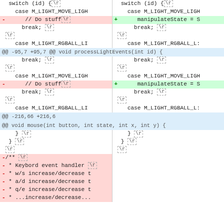[Figure (screenshot): A split-pane code diff view showing two columns (left: removed lines, right: added lines). The diff shows changes to a C/C++ source file with processLightEvents and mouse functions. Removed lines (red background) show '// Do stuff' comments and a Javadoc block. Added lines (green background) show 'manipulateState = S'. Hunk headers show @@ -95,7 +95,7 @@ void processLightEvents(int id) { and @@ -216,66 +216,6 and @@ void mouse(int button, int state, int x, int y) {. Carriage returns shown as \r in dashed boxes.]